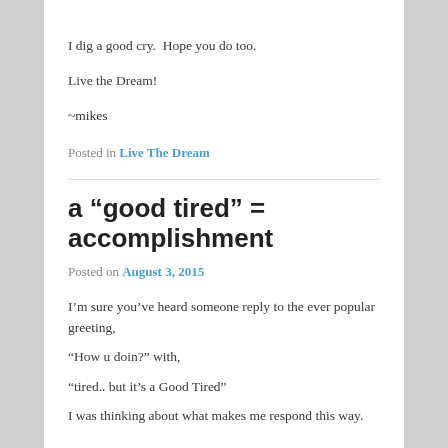I dig a good cry.  Hope you do too.
Live the Dream!
~mikes
Posted in Live The Dream
a “good tired” = accomplishment
Posted on August 3, 2015
I’m sure you’ve heard someone reply to the ever popular greeting,
“How u doin?” with,
“tired.. but it’s a Good Tired”
I was thinking about what makes me respond this way.